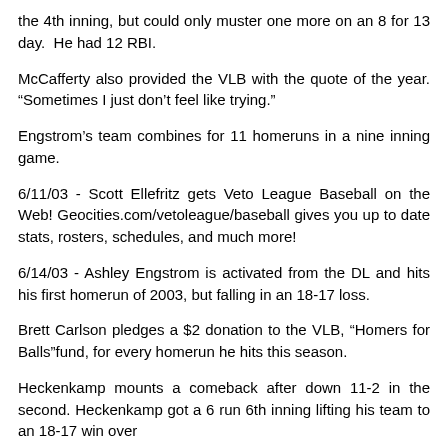the 4th inning, but could only muster one more on an 8 for 13 day. He had 12 RBI.
McCafferty also provided the VLB with the quote of the year. “Sometimes I just don’t feel like trying.”
Engstrom’s team combines for 11 homeruns in a nine inning game.
6/11/03 - Scott Ellefritz gets Veto League Baseball on the Web! Geocities.com/vetoleague/baseball gives you up to date stats, rosters, schedules, and much more!
6/14/03 - Ashley Engstrom is activated from the DL and hits his first homerun of 2003, but falling in an 18-17 loss.
Brett Carlson pledges a $2 donation to the VLB, “Homers for Balls”fund, for every homerun he hits this season.
Heckenkamp mounts a comeback after down 11-2 in the second. Heckenkamp got a 6 run 6th inning lifting his team to an 18-17 win over